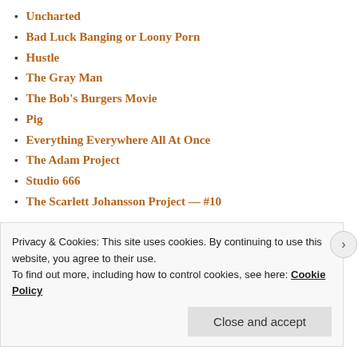Uncharted
Bad Luck Banging or Loony Porn
Hustle
The Gray Man
The Bob's Burgers Movie
Pig
Everything Everywhere All At Once
The Adam Project
Studio 666
The Scarlett Johansson Project — #10
CATEGORIES
Select Category
Privacy & Cookies: This site uses cookies. By continuing to use this website, you agree to their use. To find out more, including how to control cookies, see here: Cookie Policy
Close and accept